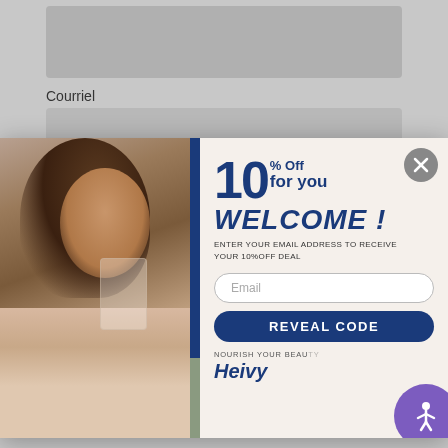Courriel
[Figure (screenshot): Popup modal showing a woman drinking water on the left, and a promotional offer on the right: 10% Off for you, WELCOME!, enter email for 10% off deal, email input field, REVEAL CODE button, NOURISH YOUR BEAUTY branding with Heivy logo and accessibility button]
← RETOUR A ALL TOPICS